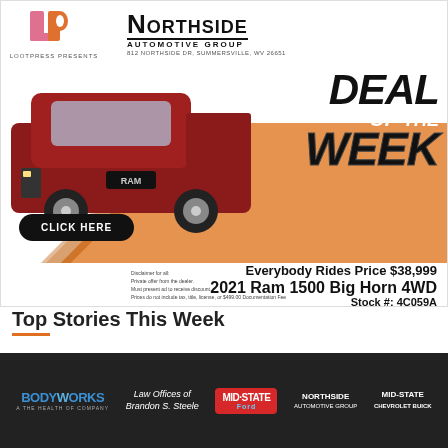[Figure (infographic): Lootpress Presents + Northside Automotive Group ad banner with red 2021 Ram 1500 truck photo, 'Deal of the Week' text, price $38,999, vehicle details, and Click Here button]
Everybody Rides Price $38,999
2021 Ram 1500 Big Horn 4WD
Stock #: 4C059A
Disclaimer for all: Private offer from the dealer. Must present ad to receive discount. Prices do not include tax, title, license, or $499.00 Documentation Fee
Top Stories This Week
[Figure (logo): Sponsor bar with logos: BodyWorks, Law Offices of Brandon S. Steele, Mid-State Ford, Northside Automotive Group, Mid-State Chevrolet Buick]